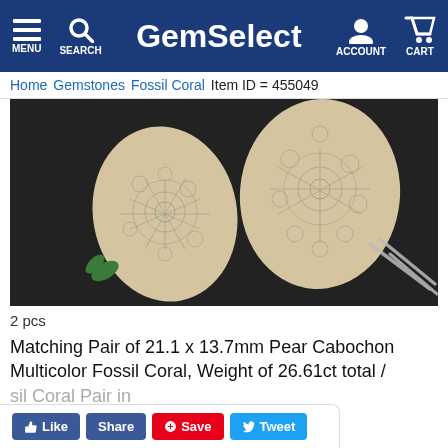GemSelect — MENU SEARCH ACCOUNT CART
Home  Gemstones  Fossil Coral  Item ID = 455049
[Figure (photo): Two pear-shaped fossil coral cabochons with intricate flower/daisy pattern in cream and grey tones, displayed on black granular background with tweezers visible]
2 pcs
Matching Pair of 21.1 x 13.7mm Pear Cabochon Multicolor Fossil Coral, Weight of 26.61ct total / sil Coral Pair in